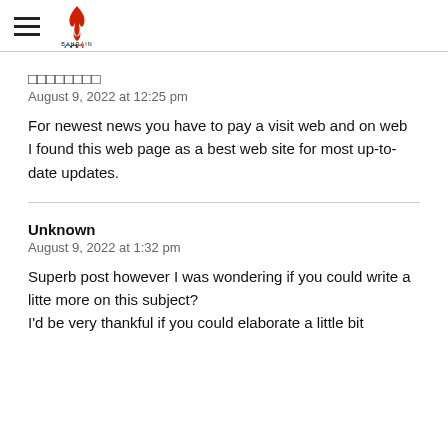Bahrain Olympic Committee
□□□□□□□□
August 9, 2022 at 12:25 pm
For newest news you have to pay a visit web and on web
I found this web page as a best web site for most up-to-date updates.
Unknown
August 9, 2022 at 1:32 pm
Superb post however I was wondering if you could write a litte more on this subject?
I'd be very thankful if you could elaborate a little bit